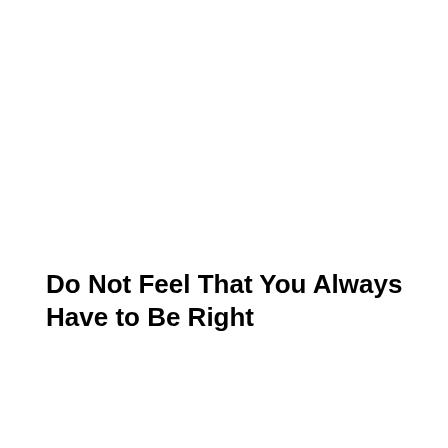Do Not Feel That You Always Have to Be Right